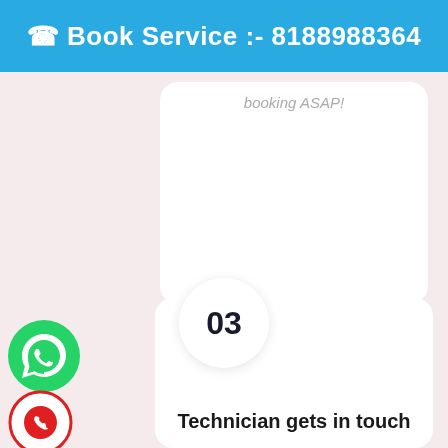Book Service :- 8188988364
booking ASAP!
03
Technician gets in touch